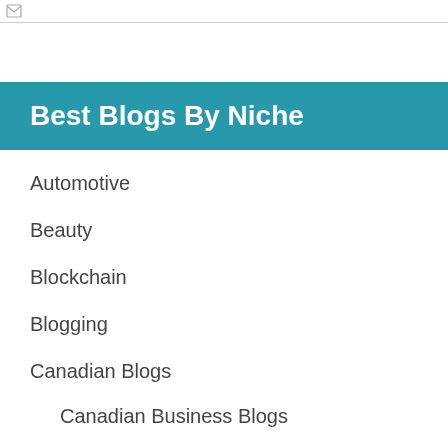Best Blogs By Niche
Automotive
Beauty
Blockchain
Blogging
Canadian Blogs
Canadian Business Blogs
Canadian Car Blogs
Canadian Fashion Blogs